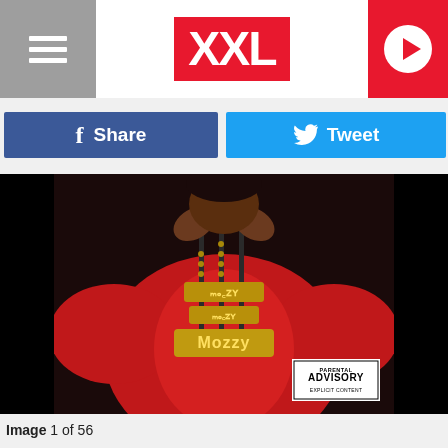XXL
Share
Tweet
[Figure (photo): Album cover for Mozzy showing a person in a red jacket with gold chain necklaces spelling out Mozzy, with a Parental Advisory Explicit Content sticker in the bottom right corner.]
Image 1 of 56